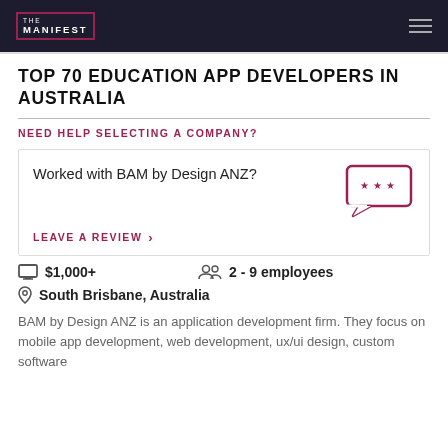THE MANIFEST
TOP 70 EDUCATION APP DEVELOPERS IN AUSTRALIA
NEED HELP SELECTING A COMPANY?
Worked with BAM by Design ANZ?
LEAVE A REVIEW >
$1,000+   2 - 9 employees
South Brisbane, Australia
BAM by Design ANZ is an application development firm. They focus on mobile app development, web development, ux/ui design, custom software